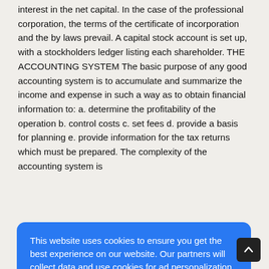interest in the net capital. In the case of the professional corporation, the terms of the certificate of incorporation and the by laws prevail. A capital stock account is set up, with a stockholders ledger listing each shareholder. THE ACCOUNTING SYSTEM The basic purpose of any good accounting system is to accumulate and summarize the income and expense in such a way as to obtain financial information to: a. determine the profitability of the operation b. control costs c. set fees d. provide a basis for planning e. provide information for the tax returns which must be prepared. The complexity of the accounting system is
[Figure (screenshot): Cookie consent overlay popup with blue background. Text reads: 'This website uses cookies to ensure you get the best experience on our website. Our partners will collect data and use cookies for ad personalization and measurement.' A link reads 'Learn how we and our partners collect and use data.' An OK button is shown in white.]
as rent, telephone, salaries, and other disbursements not chargeable